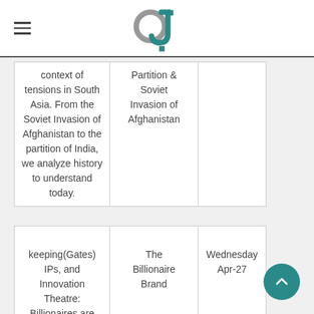GJ logo and navigation header
| context of tensions in South Asia. From the Soviet Invasion of Afghanistan to the partition of India, we analyze history to understand today. | Partition & Soviet Invasion of Afghanistan |  |
| keeping(Gates) IPs, and Innovation Theatre: Billionaires are changing the world through R&D, but for | The Billionaire Brand | Wednesday Apr-27 |